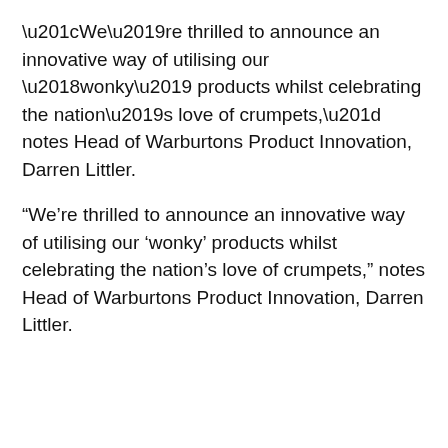“We’re thrilled to announce an innovative way of utilising our ‘wonky’ products whilst celebrating the nation’s love of crumpets,” notes Head of Warburtons Product Innovation, Darren Littler.
“Not only are we proud that Crumpet Beer is our first non-baked product we’ve ever launched, there’s nothing ‘butter’ than this cold brew teamed with a plate of warm crumpets!’
Priced at £28 for a 12-pack, you might also be interested to hear that the beer is also suitable for vegans.
Warburtons limited edition crumpet beer is now available from the Toast Ale website.
In the mood for something a little more conventional? These are the best craft beers and best American beers you need to try.